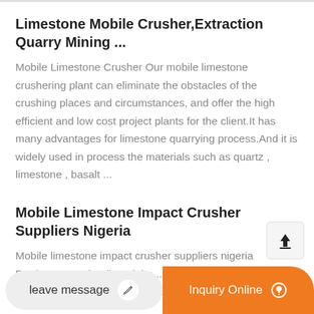Limestone Mobile Crusher,Extraction Quarry Mining ...
Mobile Limestone Crusher Our mobile limestone crushering plant can eliminate the obstacles of the crushing places and circumstances, and offer the high efficient and low cost project plants for the client.It has many advantages for limestone quarrying process.And it is widely used in process the materials such as quartz , limestone , basalt ...
Mobile Limestone Impact Crusher Suppliers Nigeria
Mobile limestone impact crusher suppliers nigeria Products. As a leading globa... reasonable solutions for any ...